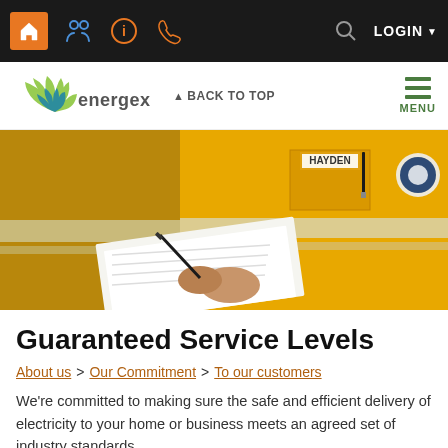Energex navigation bar with icons and LOGIN
Energex logo, BACK TO TOP, MENU
[Figure (photo): Worker in yellow high-visibility uniform named HAYDEN holding paperwork and writing with a pen]
Guaranteed Service Levels
About us > Our Commitment > To our customers
We're committed to making sure the safe and efficient delivery of electricity to your home or business meets an agreed set of industry standards.